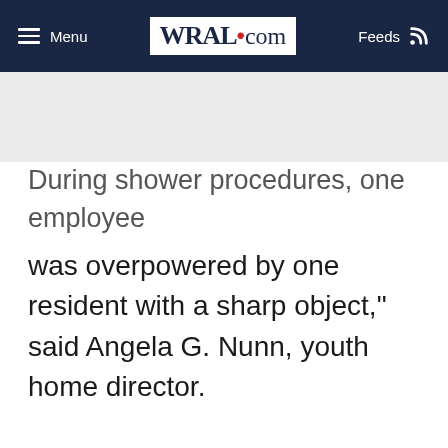Menu | WRAL.com | Feeds
During shower procedures, one employee was overpowered by one resident with a sharp object," said Angela G. Nunn, youth home director.
Nunn said the resident then took the employee's keys and let two other residents out the youth home at 2432 Broad Street around 5:45 a.m.